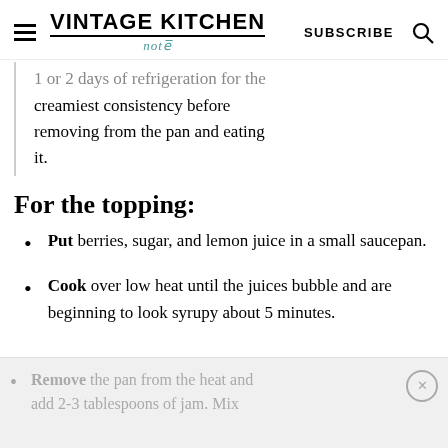VINTAGE KITCHEN  SUBSCRIBE
1 or 2 days of refrigeration for the creamiest consistency before removing from the pan and eating it.
For the topping:
Put berries, sugar, and lemon juice in a small saucepan.
Cook over low heat until the juices bubble and are beginning to look syrupy about 5 minutes.
Remove the pan from the heat and add 2-3 tablespoons of jam. Mix